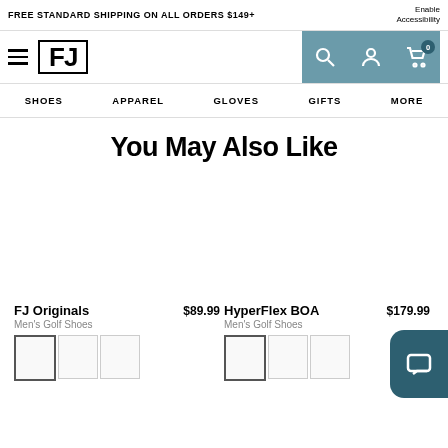FREE STANDARD SHIPPING ON ALL ORDERS $149+
Enable Accessibility
[Figure (logo): FootJoy FJ logo with hamburger menu]
SHOES  APPAREL  GLOVES  GIFTS  MORE
You May Also Like
[Figure (photo): FJ Originals shoe product image]
[Figure (photo): HyperFlex BOA shoe product image]
FJ Originals  $89.99
Men's Golf Shoes
HyperFlex BOA  $179.99
Men's Golf Shoes